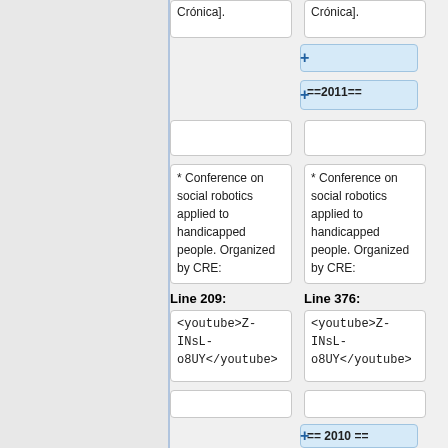Crónica].
Crónica].
==2011==
* Conference on social robotics applied to handicapped people. Organized by CRE:
* Conference on social robotics applied to handicapped people. Organized by CRE:
Line 209:
Line 376:
<youtube>Z-INsL-o8UY</youtube>
<youtube>Z-INsL-o8UY</youtube>
== 2010 ==